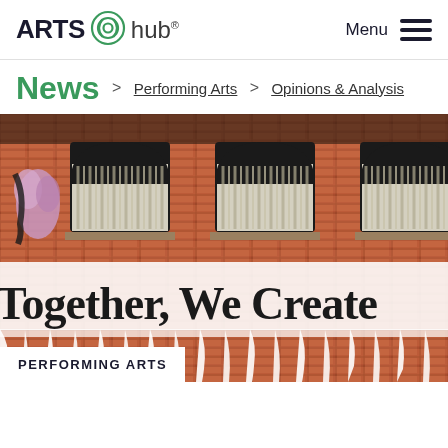ARTS hub® | Menu
News > Performing Arts > Opinions & Analysis
[Figure (photo): Brick wall mural with text 'Together, We Create' in gothic lettering with white dripping paint, and a colorful figure on the left side. Three arched windows are visible in the upper portion of the brick wall.]
PERFORMING ARTS